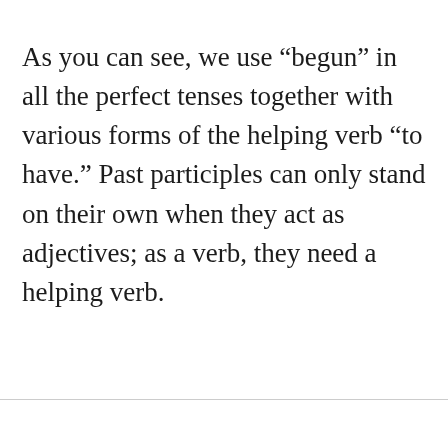As you can see, we use “begun” in all the perfect tenses together with various forms of the helping verb “to have.” Past participles can only stand on their own when they act as adjectives; as a verb, they need a helping verb.